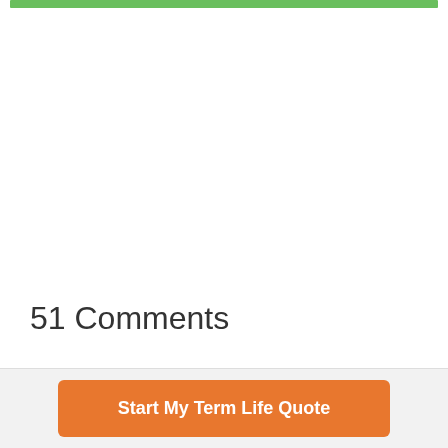[Figure (other): Green horizontal bar at the top of the page]
51 Comments
Start My Term Life Quote